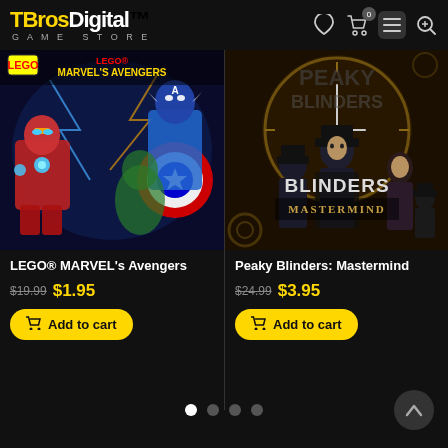TBrosDigital GAME STORE
[Figure (photo): LEGO Marvel's Avengers game cover art showing LEGO Iron Man, Captain America, and other Marvel heroes]
LEGO® MARVEL's Avengers
$19.99  $1.95
Add to cart
[Figure (photo): Peaky Blinders: Mastermind game cover art showing characters in period clothing against a dark background with clock imagery]
Peaky Blinders: Mastermind
$24.99  $3.95
Add to cart